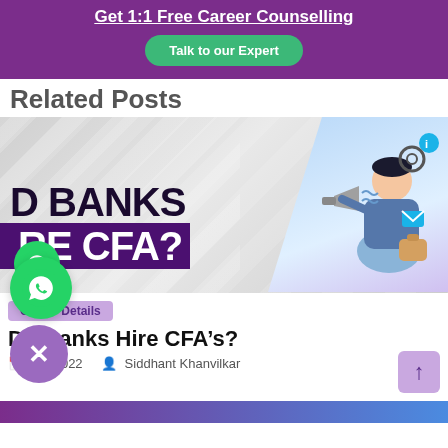Get 1:1 Free Career Counselling
Talk to our Expert
Related Posts
[Figure (illustration): Banner image showing text 'Do Banks Hire CFA?' with an illustration of a person holding a megaphone surrounded by finance/communication icons on a grey and purple background]
Career Details
Do Banks Hire CFA’s?
29, 2022   Siddhant Khanvilkar